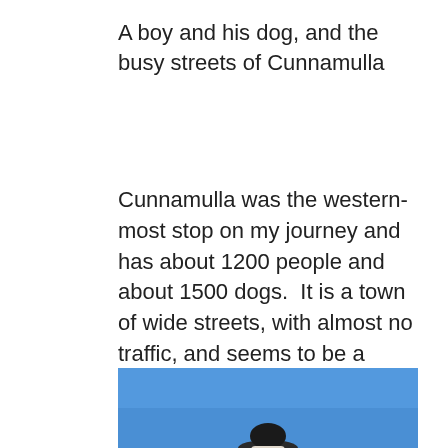A boy and his dog, and the busy streets of Cunnamulla
Cunnamulla was the western-most stop on my journey and has about 1200 people and about 1500 dogs.  It is a town of wide streets, with almost no traffic, and seems to be a sleepy sort of a place where most shops and pubs shut down for an hour or two around noon for lunch and a snooze.
[Figure (photo): A person wearing a wide-brimmed hat photographed from below against a bright blue sky]